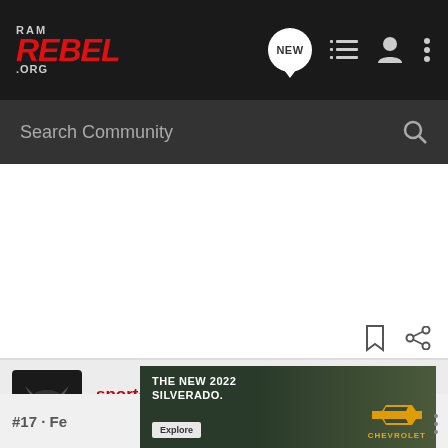RAM REBEL .ORG
Search Community
sportcoupe · Registered
Joined Nov 1, 2017 · 263 Posts
#17 · Fe
[Figure (screenshot): Ad banner for The New 2022 Silverado by Chevrolet with Explore button]